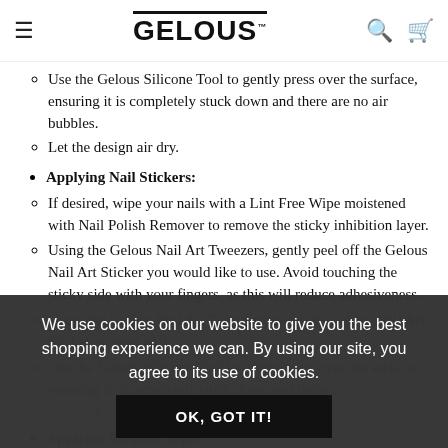GELOUS™
Use the Gelous Silicone Tool to gently press over the surface, ensuring it is completely stuck down and there are no air bubbles.
Let the design air dry.
Applying Nail Stickers:
If desired, wipe your nails with a Lint Free Wipe moistened with Nail Polish Remover to remove the sticky inhibition layer.
Using the Gelous Nail Art Tweezers, gently peel off the Gelous Nail Art Sticker you would like to use. Avoid touching the sticky side with your fingers, as this will reduce adhesiveness.
Using the Gelous Nail Art Tweezers, place the Gelous Nail Art Sticker on your nail.
Use the Gelous Silicone Tool to gently press over the surface, ensuring it is completely stuck down and there are no air bubbles.
Applying Striping Tape:
We use cookies on our website to give you the best shopping experience we can. By using our site, you agree to its use of cookies.
OK, GOT IT!